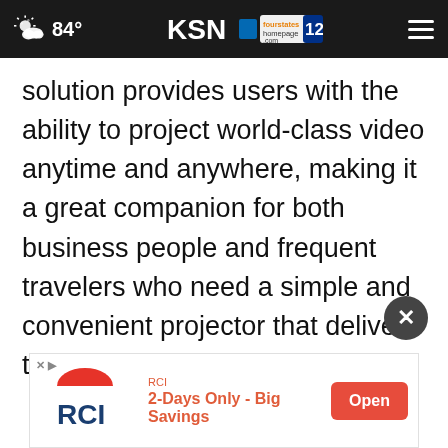84° KSN fourstates homepage.com 12
solution provides users with the ability to project world-class video anytime and anywhere, making it a great companion for both business people and frequent travelers who need a simple and convenient projector that delivers top-notch clarity.
[Figure (screenshot): RCI advertisement banner: RCI logo with red semicircle, text '2-Days Only - Big Savings', and red Open button]
RCI 2-Days Only - Big Savings Open